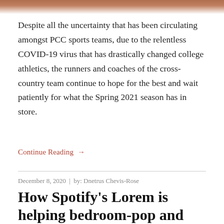[Figure (photo): Partial cropped photo of a person, visible only at the very top of the page as a strip]
Despite all the uncertainty that has been circulating amongst PCC sports teams, due to the relentless COVID-19 virus that has drastically changed college athletics, the runners and coaches of the cross-country team continue to hope for the best and wait patiently for what the Spring 2021 season has in store.
Continue Reading →
December 8, 2020  |  by: Dnetrus Chevis-Rose
How Spotify's Lorem is helping bedroom-pop and Lo-Fi music go mainstream